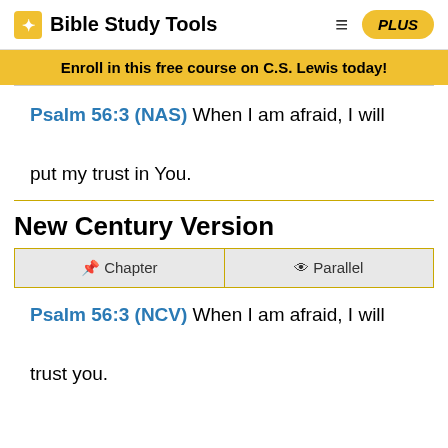Bible Study Tools | PLUS
Enroll in this free course on C.S. Lewis today!
Psalm 56:3 (NAS) When I am afraid, I will put my trust in You.
New Century Version
Chapter | Parallel
Psalm 56:3 (NCV) When I am afraid, I will trust you.